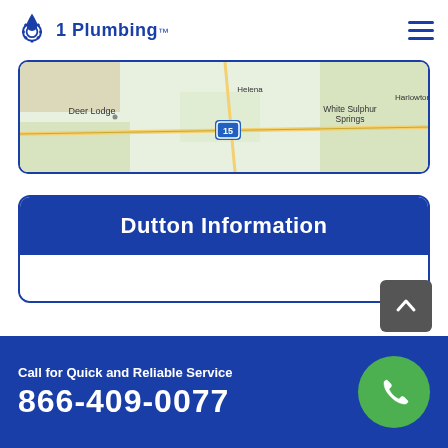1 Plumbing
[Figure (map): Map snippet showing Deer Lodge, White Sulphur Springs, and surrounding area in Montana with interstate 15 visible]
Dutton Information
Call for Quick and Reliable Service
866-409-0077